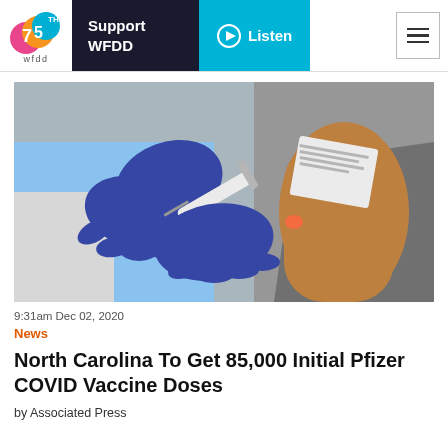WFDD 88.5 | Support WFDD | Listen
[Figure (photo): A healthcare worker wearing blue gloves administers a COVID-19 vaccine injection into a patient's arm.]
9:31am Dec 02, 2020
News
North Carolina To Get 85,000 Initial Pfizer COVID Vaccine Doses
by Associated Press